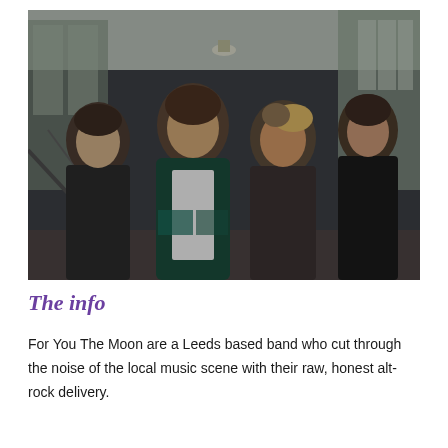[Figure (photo): Four young men standing in a corridor or hallway with large windows. The central figure wears a green and white varsity-style jacket over a white t-shirt. Others wear dark jackets. The setting is moody and urban.]
The info
For You The Moon are a Leeds based band who cut through the noise of the local music scene with their raw, honest alt-rock delivery.